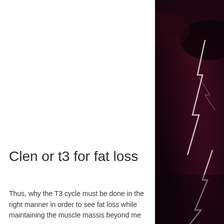[Figure (photo): Dark dramatic background photo showing lightning bolts against a deep red/purple stormy sky, positioned on the right side of the page]
Clen or t3 for fat loss
Thus, why the T3 cycle must be done in the right manner in order to see fat loss while maintaining the muscle massis beyond me